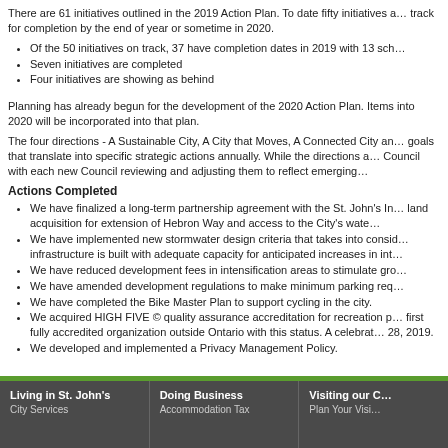There are 61 initiatives outlined in the 2019 Action Plan. To date fifty initiatives are on track for completion by the end of year or sometime in 2020.
Of the 50 initiatives on track, 37 have completion dates in 2019 with 13 sch...
Seven initiatives are completed
Four initiatives are showing as behind
Planning has already begun for the development of the 2020 Action Plan. Items into 2020 will be incorporated into that plan.
The four directions - A Sustainable City, A City that Moves, A Connected City and goals that translate into specific strategic actions annually. While the directions a... Council with each new Council reviewing and adjusting them to reflect emerging...
Actions Completed
We have finalized a long-term partnership agreement with the St. John's In... land acquisition for extension of Hebron Way and access to the City's wate...
We have implemented new stormwater design criteria that takes into consid... infrastructure is built with adequate capacity for anticipated increases in int...
We have reduced development fees in intensification areas to stimulate gro...
We have amended development regulations to make minimum parking req...
We have completed the Bike Master Plan to support cycling in the city.
We acquired HIGH FIVE © quality assurance accreditation for recreation p... first fully accredited organization outside Ontario with this status. A celebrat... 28, 2019.
We developed and implemented a Privacy Management Policy.
Living in St. John's | City Services | Doing Business | Accommodation Tax | Visiting our C... | Plan Your Visi...